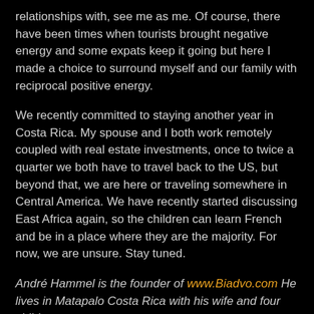relationships with, see me as me. Of course, there have been times when tourists brought negative energy and some expats keep it going but here I made a choice to surround myself and our family with reciprocal positive energy.
We recently committed to staying another year in Costa Rica. My spouse and I both work remotely coupled with real estate investments, once to twice a quarter we both have to travel back to the US, but beyond that, we are here or traveling somewhere in Central America. We have recently started discussing East Africa again, so the children can learn French and be in a place where they are the majority. For now, we are unsure. Stay tuned.
André Hammel is the founder of www.Biadvo.com He lives in Matapalo Costa Rica with his wife and four children.